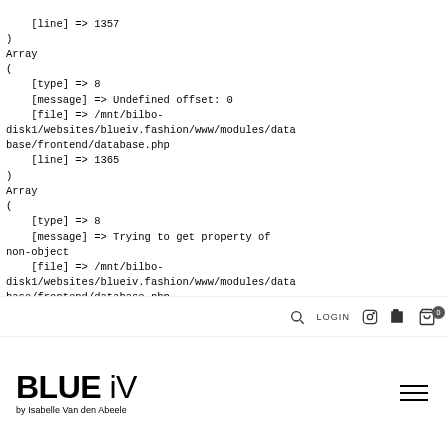[line] => 1357
)
Array
(
    [type] => 8
    [message] => Undefined offset: 0
    [file] => /mnt/bilbo-disk1/websites/blueiv.fashion/www/modules/database/frontend/database.php
    [line] => 1365
)
Array
(
    [type] => 8
    [message] => Trying to get property of non-object
    [file] => /mnt/bilbo-disk1/websites/blueiv.fashion/www/modules/database/frontend/database.php
    [line] => 1365
)
BLUE iV by Isabelle Van den Abeele